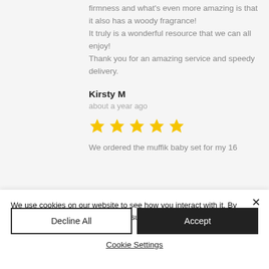firmness and what's even more amazing is that it also has a woody fragrance! It truly is a wonderful resource that we can all enjoy! Thank you for an amazing service and speedy delivery.
Kirsty M
about a year ago
[Figure (other): 5 yellow star rating icons]
We ordered the muffik baby set for my 16
We use cookies on our website to see how you interact with it. By accepting, you agree to our use of such cookies. See Privacy Policy
Decline All
Accept
Cookie Settings